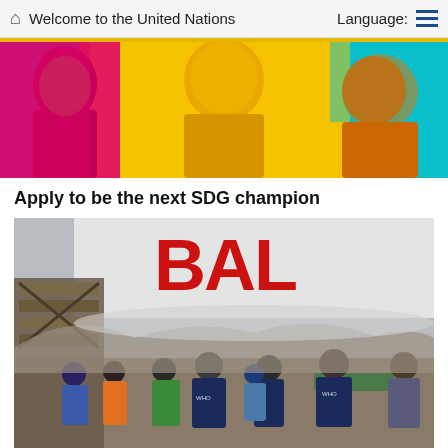Welcome to the United Nations   Language:
[Figure (photo): Colorful stylized/pop-art photo of smiling young people with vibrant yellow, pink, and teal color treatment]
Apply to be the next SDG champion
[Figure (photo): People in WHO vests and high-visibility jackets standing near cargo being unloaded from an airplane with red 'BAL' lettering on the fuselage]